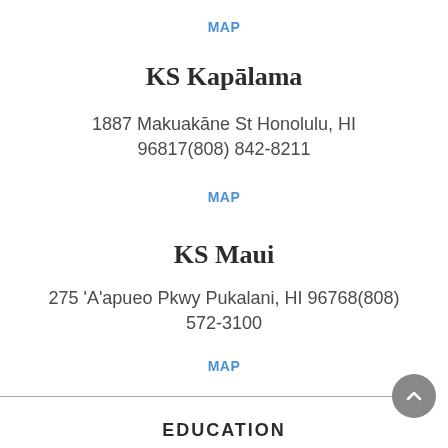MAP
KS Kapālama
1887 Makuakāne St Honolulu, HI 96817(808) 842-8211
MAP
KS Maui
275 'A'apueo Pkwy Pukalani, HI 96768(808) 572-3100
MAP
EDUCATION